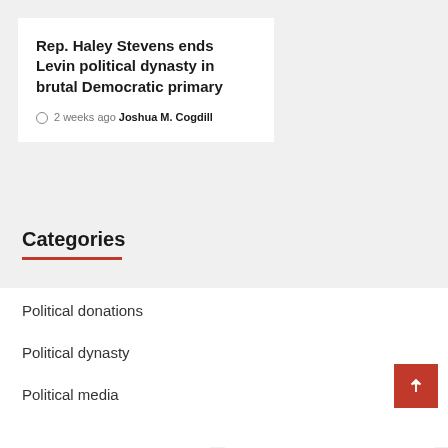Rep. Haley Stevens ends Levin political dynasty in brutal Democratic primary
2 weeks ago  Joshua M. Cogdill
Categories
Political donations
Political dynasty
Political media
Politician affair